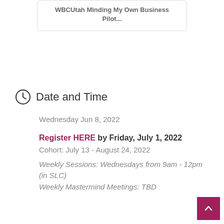WBCUtah Minding My Own Business Pilot...
Date and Time
Wednesday Jun 8, 2022
Register HERE by Friday, July 1, 2022
Cohort: July 13 - August 24, 2022
Weekly Sessions: Wednesdays from 9am - 12pm (in SLC)
Weekly Mastermind Meetings: TBD